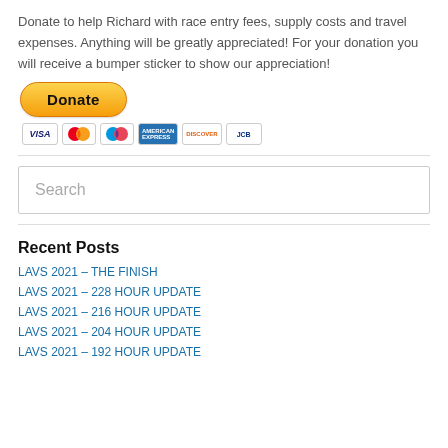Donate to help Richard with race entry fees, supply costs and travel expenses. Anything will be greatly appreciated! For your donation you will receive a bumper sticker to show our appreciation!
[Figure (other): PayPal Donate button (yellow pill-shaped button with bold 'Donate' text) and payment card icons below (Visa, Mastercard, Maestro, American Express, Discover, JCB)]
Search
Recent Posts
LAVS 2021 – THE FINISH
LAVS 2021 – 228 HOUR UPDATE
LAVS 2021 – 216 HOUR UPDATE
LAVS 2021 – 204 HOUR UPDATE
LAVS 2021 – 192 HOUR UPDATE